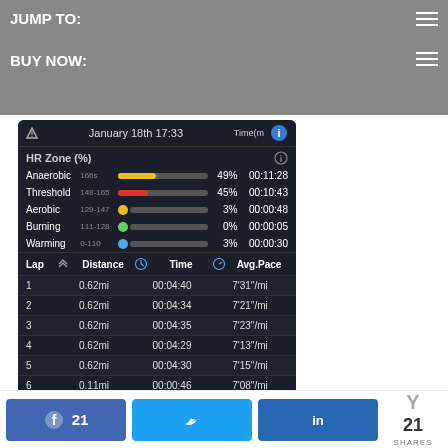JUMP TO:
BUY NOW:
[Figure (screenshot): Fitness app screenshot showing HR Zone percentages: Anaerobic 166s 49% 00:11:28, Threshold 148-165 45% 00:10:43, Aerobic 129-147 3% 00:00:48, Burning 111-128 0% 00:00:05, Warming 0-110 3% 00:00:30. Lap table: 1 0.62mi 00:04:40 7'31"/mi, 2 0.62mi 00:04:34 7'21"/mi, 3 0.62mi 00:04:35 7'23"/mi, 4 0.62mi 00:04:29 7'13"/mi, 5 0.62mi 00:04:30 7'15"/mi, 6 0.11mi 00:00:46 7'08"/mi. Footer: Total Time, Moving Time.]
21 SHARES (Facebook 21, Twitter, LinkedIn)